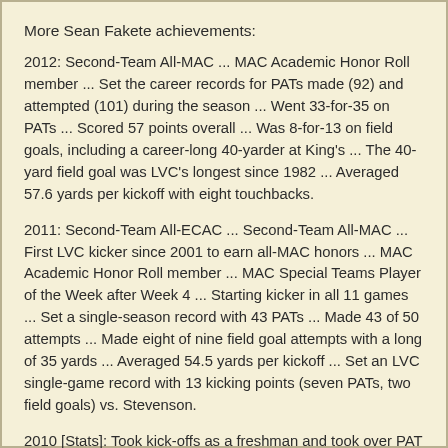More Sean Fakete achievements:
2012: Second-Team All-MAC ... MAC Academic Honor Roll member ... Set the career records for PATs made (92) and attempted (101) during the season ... Went 33-for-35 on PATs ... Scored 57 points overall ... Was 8-for-13 on field goals, including a career-long 40-yarder at King's ... The 40-yard field goal was LVC's longest since 1982 ... Averaged 57.6 yards per kickoff with eight touchbacks.
2011: Second-Team All-ECAC ... Second-Team All-MAC ... First LVC kicker since 2001 to earn all-MAC honors ... MAC Academic Honor Roll member ... MAC Special Teams Player of the Week after Week 4 ... Starting kicker in all 11 games ... Set a single-season record with 43 PATs ... Made 43 of 50 attempts ... Made eight of nine field goal attempts with a long of 35 yards ... Averaged 54.5 yards per kickoff ... Set an LVC single-game record with 13 kicking points (seven PATs, two field goals) vs. Stevenson.
2010 [Stats]: Took kick-offs as a freshman and took over PAT duties late in the year ... Was a perfect 16 for 16 on